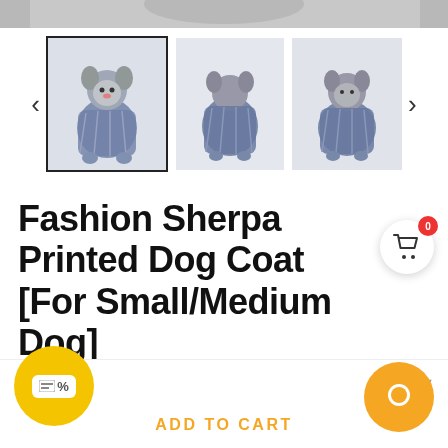[Figure (photo): Top partial image strip of a dog wearing a sherpa coat, cropped at top]
[Figure (photo): Three thumbnail images of a Schnauzer dog wearing a Fashion Sherpa Printed Dog Coat. First thumbnail is selected with a black border. Second and third show back and side views.]
Fashion Sherpa Printed Dog Coat [For Small/Medium Dog]
★★★★½ 7 reviews
$37.00  $44.00  SALE
B  S
ADD TO CART
Blue